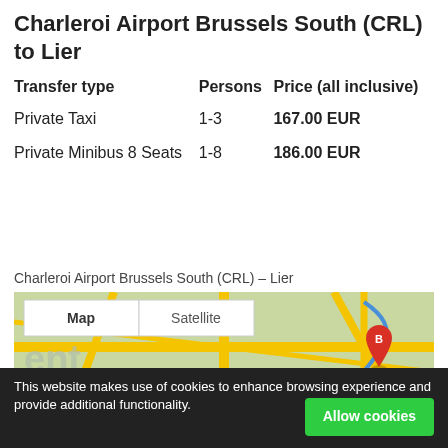Charleroi Airport Brussels South (CRL) to Lier
| Transfer type | Persons | Price (all inclusive) |
| --- | --- | --- |
| Private Taxi | 1-3 | 167.00 EUR |
| Private Minibus 8 Seats | 1-8 | 186.00 EUR |
Charleroi Airport Brussels South (CRL) – Lier
[Figure (map): Google map showing route from Charleroi Airport Brussels South (CRL) to Lier, with Map/Satellite toggle buttons and a red marker labeled B.]
This website makes use of cookies to enhance browsing experience and provide additional functionality.